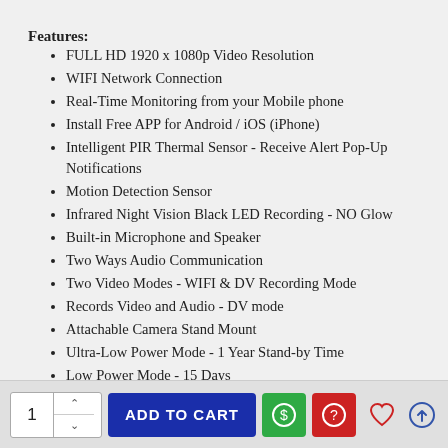Features:
FULL HD 1920 x 1080p Video Resolution
WIFI Network Connection
Real-Time Monitoring from your Mobile phone
Install Free APP for Android / iOS (iPhone)
Intelligent PIR Thermal Sensor - Receive Alert Pop-Up Notifications
Motion Detection Sensor
Infrared Night Vision Black LED Recording - NO Glow
Built-in Microphone and Speaker
Two Ways Audio Communication
Two Video Modes - WIFI & DV Recording Mode
Records Video and Audio - DV mode
Attachable Camera Stand Mount
Ultra-Low Power Mode - 1 Year Stand-by Time
Low Power Mode - 15 Days